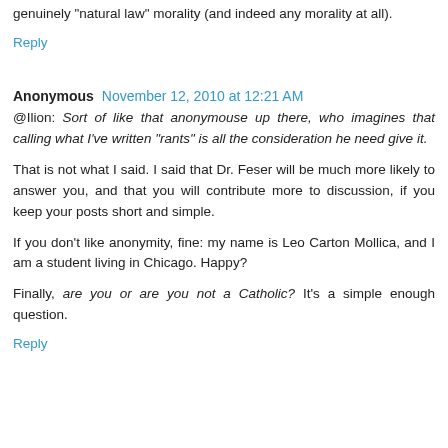genuinely "natural law" morality (and indeed any morality at all).
Reply
Anonymous  November 12, 2010 at 12:21 AM
@Ilion: Sort of like that anonymouse up there, who imagines that calling what I've written "rants" is all the consideration he need give it.
That is not what I said. I said that Dr. Feser will be much more likely to answer you, and that you will contribute more to discussion, if you keep your posts short and simple.
If you don't like anonymity, fine: my name is Leo Carton Mollica, and I am a student living in Chicago. Happy?
Finally, are you or are you not a Catholic? It's a simple enough question.
Reply